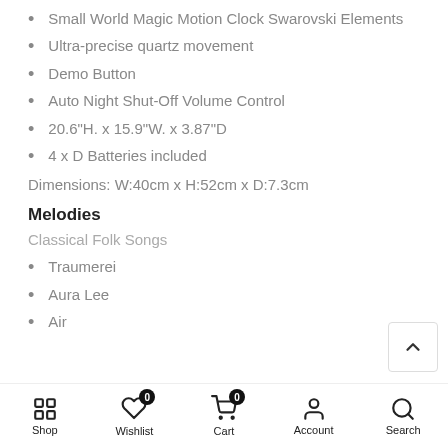Small World Magic Motion Clock Swarovski Elements
Ultra-precise quartz movement
Demo Button
Auto Night Shut-Off Volume Control
20.6"H. x 15.9"W. x 3.87"D
4 x D Batteries included
Dimensions: W:40cm x H:52cm x D:7.3cm
Melodies
Classical Folk Songs
Traumerei
Aura Lee
Air
Shop  Wishlist 0  Cart 0  Account  Search